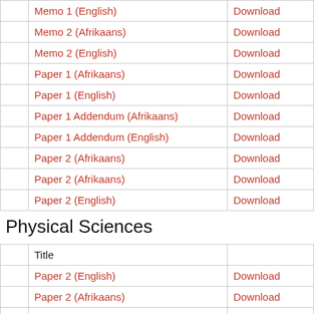|  | Title |  |
| --- | --- | --- |
|  | Memo 1 (English) | Download |
|  | Memo 2 (Afrikaans) | Download |
|  | Memo 2 (English) | Download |
|  | Paper 1 (Afrikaans) | Download |
|  | Paper 1 (English) | Download |
|  | Paper 1 Addendum (Afrikaans) | Download |
|  | Paper 1 Addendum (English) | Download |
|  | Paper 2 (Afrikaans) | Download |
|  | Paper 2 (Afrikaans) | Download |
|  | Paper 2 (English) | Download |
Physical Sciences
|  | Title |  |
| --- | --- | --- |
|  | Paper 2 (English) | Download |
|  | Paper 2 (Afrikaans) | Download |
|  | Paper 1 (English) | Download |